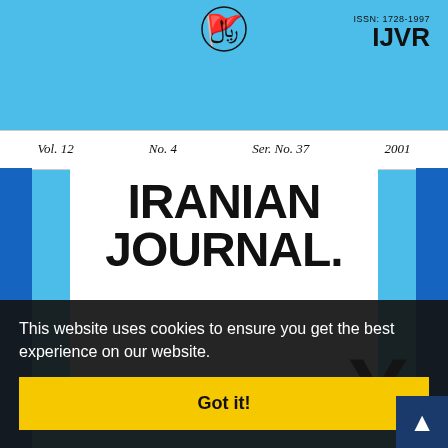[Figure (illustration): Cover page of Iranian Journal of Veterinary Research (IJVR), Vol. 12, No. 4, Ser. No. 37, 2001, showing the journal cover with light blue background, Iranian emblem, ISSN number, and journal title in large bold text. A cookie consent banner overlays the lower portion.]
ISSN: 1728-1997
IJVR
Vol. 12    No. 4    Ser. No. 37    2001
IRANIAN JOURNAL
This website uses cookies to ensure you get the best experience on our website.
Got it!